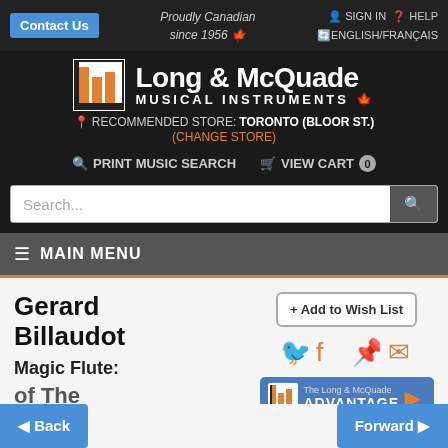Contact Us | Proudly Canadian since 1956 | SIGN IN | HELP | ENGLISH/FRANÇAIS
[Figure (logo): Long & McQuade Musical Instruments logo with orange and black piano keys icon]
RECOMMENDED STORE: TORONTO (BLOOR ST.) (CHANGE STORE)
PRINT MUSIC SEARCH | VIEW CART 0
Search...
≡ MAIN MENU
+ Add to Wish List
Gerard Billaudot
Magic Flute:
of The
◀ Back | Forward ▶